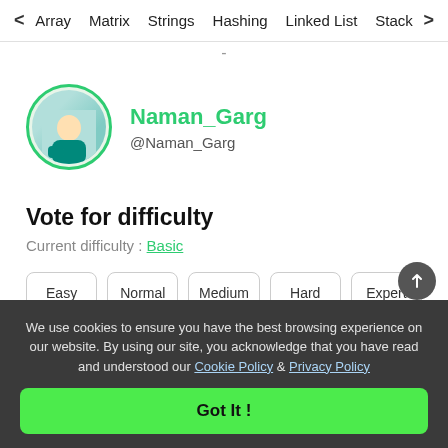< Array  Matrix  Strings  Hashing  Linked List  Stack >
Naman_Garg
@Naman_Garg
Vote for difficulty
Current difficulty : Basic
Easy
Normal
Medium
Hard
Expert
We use cookies to ensure you have the best browsing experience on our website. By using our site, you acknowledge that you have read and understood our Cookie Policy & Privacy Policy
Got It !